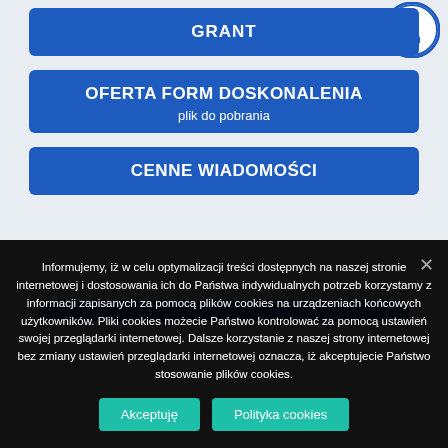GRANT
OFERTA FORM DOSKONALENIA
plik do pobrania
CENNE WIADOMOŚCI
Informujemy, iż w celu optymalizacji treści dostępnych na naszej stronie internetowej i dostosowania ich do Państwa indywidualnych potrzeb korzystamy z informacji zapisanych za pomocą plików cookies na urządzeniach końcowych użytkowników. Pliki cookies możecie Państwo kontrolować za pomocą ustawień swojej przeglądarki internetowej. Dalsze korzystanie z naszej strony internetowej bez zmiany ustawień przeglądarki internetowej oznacza, iż akceptujecie Państwo stosowanie plików cookies.
Akceptuję
Polityka cookies